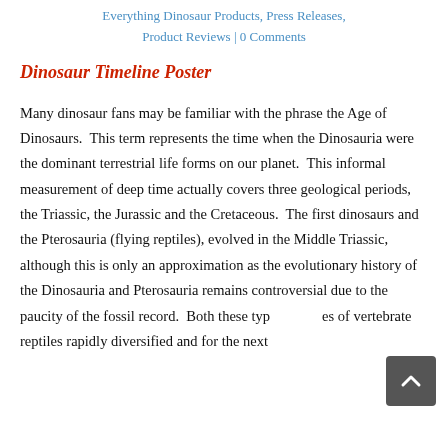Everything Dinosaur Products, Press Releases, Product Reviews | 0 Comments
Dinosaur Timeline Poster
Many dinosaur fans may be familiar with the phrase the Age of Dinosaurs.  This term represents the time when the Dinosauria were the dominant terrestrial life forms on our planet.  This informal measurement of deep time actually covers three geological periods, the Triassic, the Jurassic and the Cretaceous.  The first dinosaurs and the Pterosauria (flying reptiles), evolved in the Middle Triassic, although this is only an approximation as the evolutionary history of the Dinosauria and Pterosauria remains controversial due to the paucity of the fossil record.  Both these types of vertebrate reptiles rapidly diversified and for the next